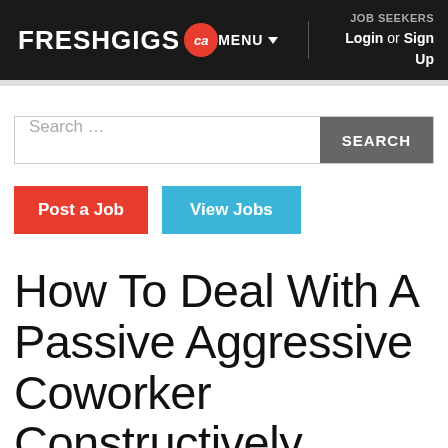FRESHGIGS .ca | MENU | JOB SEEKERS Login or Sign Up
Search …
SEARCH
Post a Job
View Jobs
How To Deal With A Passive Aggressive Coworker Constructively